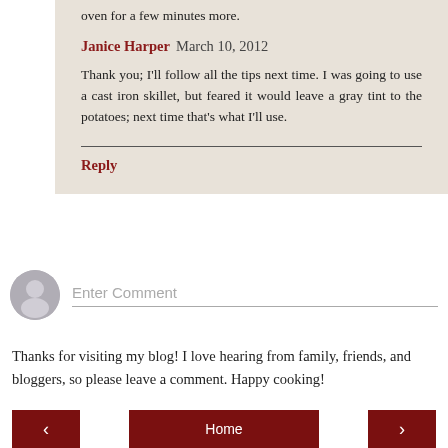oven for a few minutes more.
Janice Harper  March 10, 2012
Thank you; I'll follow all the tips next time. I was going to use a cast iron skillet, but feared it would leave a gray tint to the potatoes; next time that's what I'll use.
Reply
Enter Comment
Thanks for visiting my blog! I love hearing from family, friends, and bloggers, so please leave a comment. Happy cooking!
Home